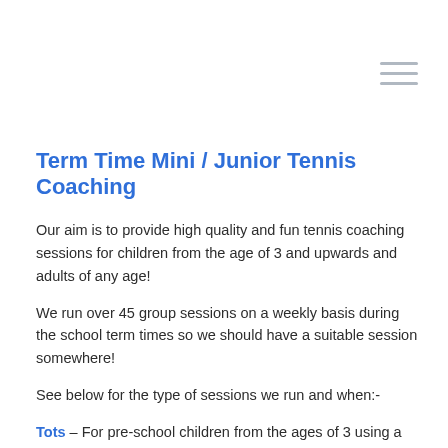[Figure (other): Hamburger menu icon (three horizontal lines) in top-right corner]
Term Time Mini / Junior Tennis Coaching
Our aim is to provide high quality and fun tennis coaching sessions for children from the age of 3 and upwards and adults of any age!
We run over 45 group sessions on a weekly basis during the school term times so we should have a suitable session somewhere!
See below for the type of sessions we run and when:-
Tots – For pre-school children from the ages of 3 using a softer ball (larger tennis type ball or a foam ball), a shorter racket (19 inch to 21 inch).